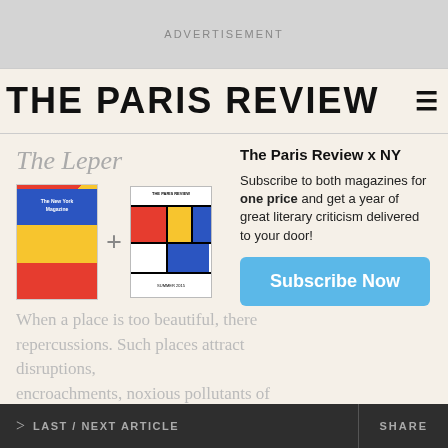ADVERTISEMENT
THE PARIS REVIEW
The Leper
[Figure (illustration): Two magazine covers side by side with a plus sign: a colorful New York magazine cover and The Paris Review cover with geometric Mondrian-style art]
The Paris Review x NY
Subscribe to both magazines for one price and get a year of great literary criticism delivered to your door!
Subscribe Now
When a place is too beautiful, there repercussions. Such places attract disruptions, encroachments, noxious pollutants of sound and deed. Things of the daily sort that would pass unnoticed in an
> LAST / NEXT ARTICLE    SHARE